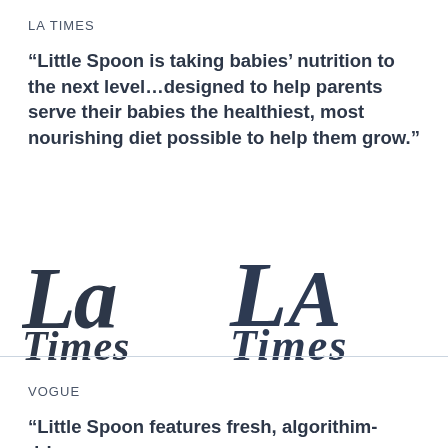LA TIMES
“Little Spoon is taking babies’ nutrition to the next level…designed to help parents serve their babies the healthiest, most nourishing diet possible to help them grow.”
[Figure (logo): LA Times newspaper logo in blackletter/gothic font style, dark navy color]
VOGUE
“Little Spoon features fresh, algorithim-driven